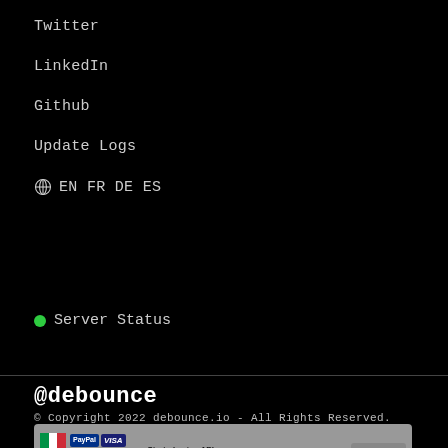Twitter
LinkedIn
Github
Update Logs
EN FR DE ES
• Server Status
@debounce
© Copyright 2022 debounce.io - All Rights Reserved.
Email List Verification Made Simple.